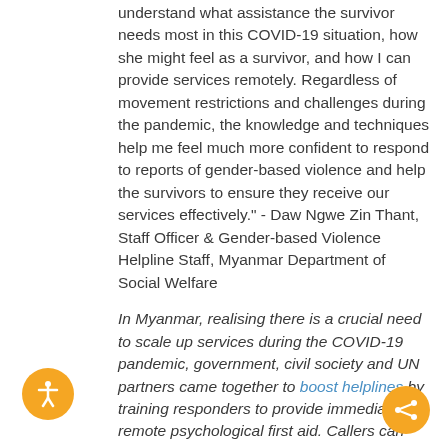understand what assistance the survivor needs most in this COVID-19 situation, how she might feel as a survivor, and how I can provide services remotely. Regardless of movement restrictions and challenges during the pandemic, the knowledge and techniques help me feel much more confident to respond to reports of gender-based violence and help the survivors to ensure they receive our services effectively." - Daw Ngwe Zin Thant, Staff Officer & Gender-based Violence Helpline Staff, Myanmar Department of Social Welfare
In Myanmar, realising there is a crucial need to scale up services during the COVID-19 pandemic, government, civil society and UN partners came together to boost helplines by training responders to provide immediate, remote psychological first aid. Callers can also be directed to women support centres, safe spaces that link women to various types of assistance. And, many health care providers across Myanmar have been trained and mobilised to support survivors of gender-based violence.